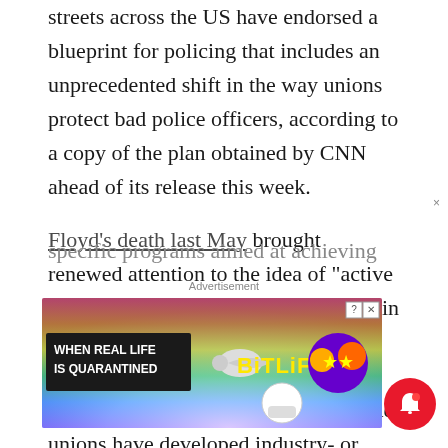streets across the US have endorsed a blueprint for policing that includes an unprecedented shift in the way unions protect bad police officers, according to a copy of the plan obtained by CNN ahead of its release this week.
Floyd’s death last May brought renewed attention to the idea of “active bystanders,” a relatively new concept in law enforcement which calls for officers to intervene when they see wrongdoing. Other industries and trade unions have developed industry- or union-specific programs aimed at achieving the same goal.
Advertisement
[Figure (screenshot): BitLife advertisement banner: rainbow gradient background with text 'WHEN REAL LIFE IS QUARANTINED' on left and BitLife logo on right with colorful character graphics]